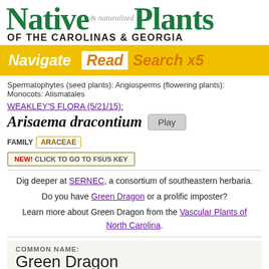[Figure (logo): Native Plants & Naturalized of the Carolinas & Georgia logo with green serif font]
OF THE CAROLINAS & GEORGIA
Navigate  Read  Search x5
Spermatophytes (seed plants): Angiosperms (flowering plants): Monocots: Alismatales
WEAKLEY'S FLORA (5/21/15):
Arisaema dracontium   Play   FAMILY  ARACEAE
NEW! CLICK TO GO TO FSUS KEY
Dig deeper at SERNEC, a consortium of southeastern herbaria.
Do you have Green Dragon or a prolific imposter?
Learn more about Green Dragon from the Vascular Plants of North Carolina.
COMMON NAME:
Green Dragon
To see larger pictures, click or hover over the thumbnails.